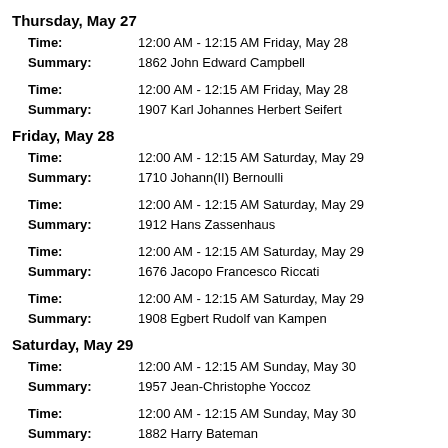Thursday, May 27
Time: 12:00 AM - 12:15 AM Friday, May 28
Summary: 1862 John Edward Campbell
Time: 12:00 AM - 12:15 AM Friday, May 28
Summary: 1907 Karl Johannes Herbert Seifert
Friday, May 28
Time: 12:00 AM - 12:15 AM Saturday, May 29
Summary: 1710 Johann(II) Bernoulli
Time: 12:00 AM - 12:15 AM Saturday, May 29
Summary: 1912 Hans Zassenhaus
Time: 12:00 AM - 12:15 AM Saturday, May 29
Summary: 1676 Jacopo Francesco Riccati
Time: 12:00 AM - 12:15 AM Saturday, May 29
Summary: 1908 Egbert Rudolf van Kampen
Saturday, May 29
Time: 12:00 AM - 12:15 AM Sunday, May 30
Summary: 1957 Jean-Christophe Yoccoz
Time: 12:00 AM - 12:15 AM Sunday, May 30
Summary: 1882 Harry Bateman
Time: 12:00 AM - 12:15 AM Sunday, May 30
Summary: 1885 Erwin Finlay Freundlich
Time: 12:00 AM - 12:15 AM Sunday, May 30